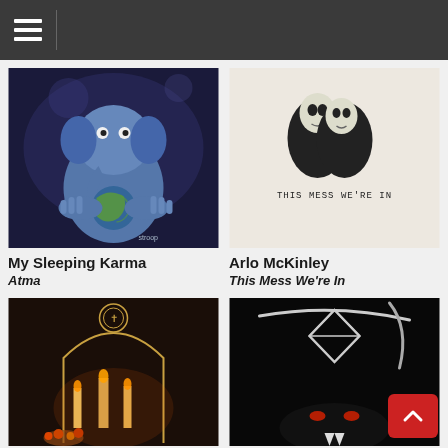Navigation menu
[Figure (photo): Album cover art for My Sleeping Karma - Atma: surreal painting of a blue elephant-headed figure holding a cracked Earth globe with cosmic background]
My Sleeping Karma
Atma
[Figure (photo): Album cover art for Arlo McKinley - This Mess We're In: black and white illustration of two hooded skull figures embracing, with text THIS MESS WE'RE IN below]
Arlo McKinley
This Mess We're In
[Figure (photo): Album cover art showing candles and flowers in warm orange tones with an arch and a circular emblem at top]
[Figure (photo): Album cover art showing a diamond logo and dark creature imagery on black background]